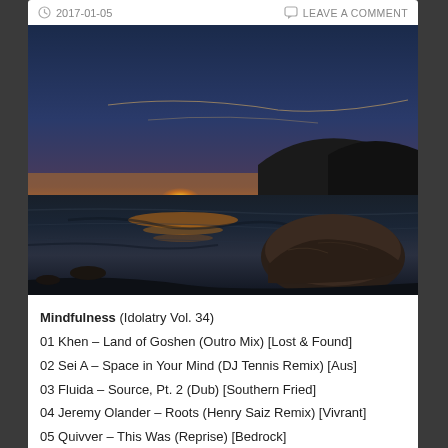2017-01-05   LEAVE A COMMENT
[Figure (photo): Landscape photo of a coastal sunset scene with a large rock in the foreground, tidal flats reflecting the orange and golden sunset, dark hills in the background, and a dramatic blue-to-orange sky.]
Mindfulness (Idolatry Vol. 34)
01 Khen – Land of Goshen (Outro Mix) [Lost & Found]
02 Sei A – Space in Your Mind (DJ Tennis Remix) [Aus]
03 Fluida – Source, Pt. 2 (Dub) [Southern Fried]
04 Jeremy Olander – Roots (Henry Saiz Remix) [Vivrant]
05 Quivver – This Was (Reprise) [Bedrock]
06 Shenoda – Minute [Aus]
07 1979 – Reminiscing [k-ount]